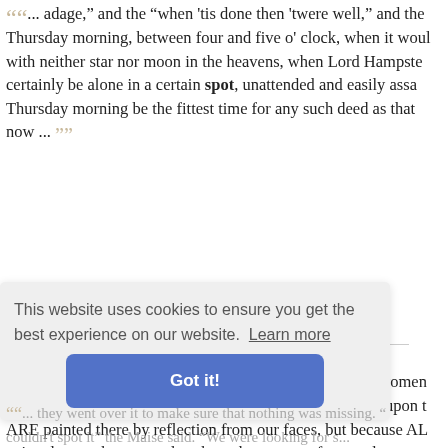"... adage," and the "when 'tis done then 'twere well," and the Thursday morning, between four and five o' clock, when it would be with neither star nor moon in the heavens, when Lord Hampste certainly be alone in a certain spot, unattended and easily assa Thursday morning be the fittest time for any such deed as that now ..."
— Marion Fay • Anthony Trollope
▶ Read full book for free!
"... a man is not desperately in love with ten thousand women that which prevents all our portraits being distinctly seen upon t ARE painted there by reflection from our faces, but because AL painted on each spot, and each on the same surface, and mar at the same time, no one is seen as a picture. But darken a ch have a pict"
...ell Holmes
This website uses cookies to ensure you get the best experience on our website. Learn more
Got it!
"... they went over it to make sure that nothing was missing. couldn't spot it" the Maise said. "We were looking for s..."